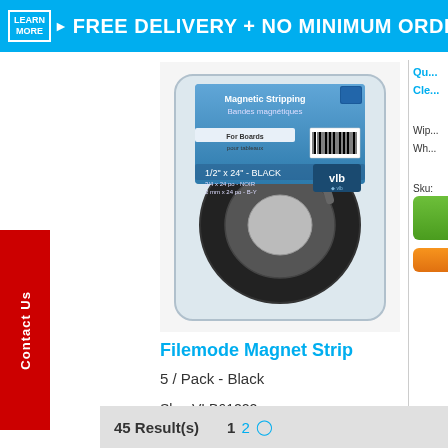LEARN MORE ▶ FREE DELIVERY + NO MINIMUM ORDER
[Figure (photo): Product photo of Filemode Magnet Strip packaging - circular magnetic strip in plastic bag with blue label showing 'Magnetic Stripping Bandes magnétiques For Boards pour tableaux' and VLB logo]
Filemode Magnet Strip
5 / Pack - Black
Sku: VLB61222
Login Now For VIP Pricing & Live Inventory
Create New Account
Qu... Cle... Wip... Wh... Sku:
45 Result(s)
1 2 ◉
Contact Us